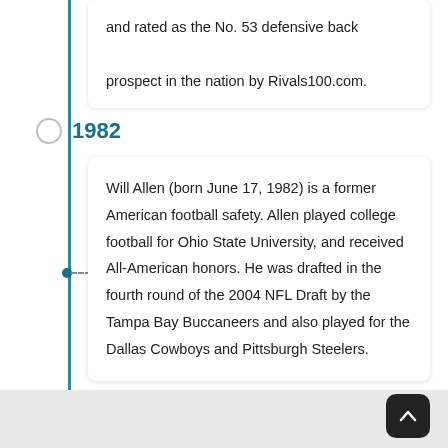and rated as the No. 53 defensive back prospect in the nation by Rivals100.com.
1982
Will Allen (born June 17, 1982) is a former American football safety. Allen played college football for Ohio State University, and received All-American honors. He was drafted in the fourth round of the 2004 NFL Draft by the Tampa Bay Buccaneers and also played for the Dallas Cowboys and Pittsburgh Steelers.